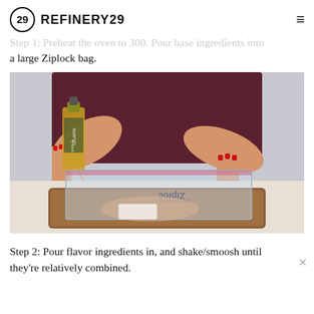REFINERY29
Step 1: Preheat the oven to 300. Pour base ingredients into a large Ziplock bag.
[Figure (photo): A person with red nails pouring olive oil from a Colavita olive oil bottle into an open Ziploc bag placed on a wooden cutting board. The bag contains what appears to be chicken.]
Step 2: Pour flavor ingredients in, and shake/smoosh until they're relatively combined.